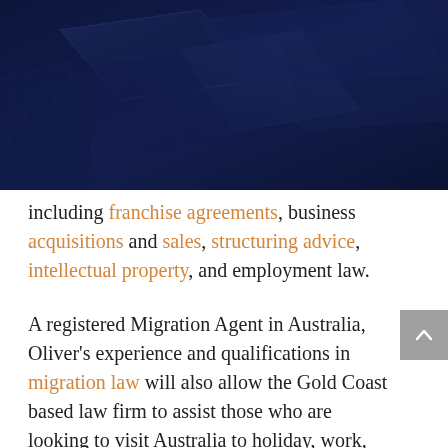[Figure (photo): Dark navy blue background hero image with geometric angular shapes — appears to show stacked or arranged objects with a dark blue overlay]
including franchise agreements, business acquisitions and sales, structuring advice, intellectual property, and employment law.
A registered Migration Agent in Australia, Oliver's experience and qualifications in migration law will also allow the Gold Coast based law firm to assist those who are looking to visit Australia to holiday, work, study or live.